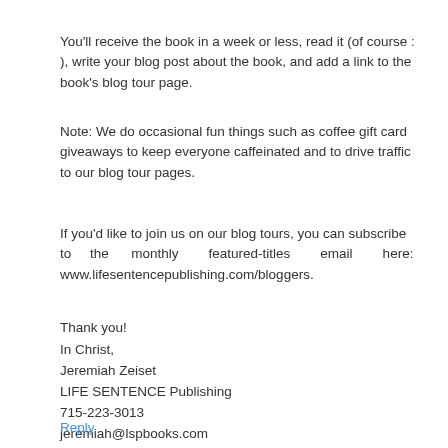You'll receive the book in a week or less, read it (of course :), write your blog post about the book, and add a link to the book's blog tour page.
Note: We do occasional fun things such as coffee gift card giveaways to keep everyone caffeinated and to drive traffic to our blog tour pages.
If you'd like to join us on our blog tours, you can subscribe to the monthly featured-titles email here: www.lifesentencepublishing.com/bloggers.
Thank you!
In Christ,
Jeremiah Zeiset
LIFE SENTENCE Publishing
715-223-3013
jeremiah@lspbooks.com
Reply